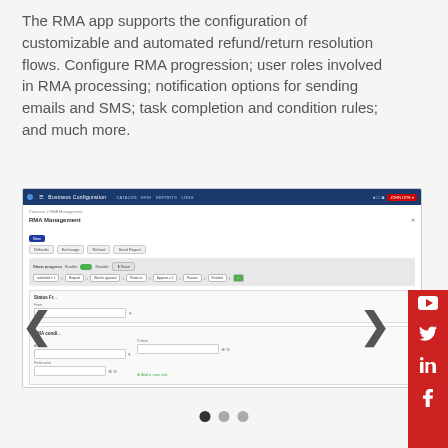The RMA app supports the configuration of customizable and automated refund/return resolution flows. Configure RMA progression; user roles involved in RMA processing; notification options for sending emails and SMS; task completion and condition rules; and much more.
[Figure (screenshot): Screenshot of RMA Management configuration interface showing a blue navigation bar, RMA Management panel with progress flow steps, status fields, and form controls for configuring RMA settings. Navigation arrows (left/right chevrons) are visible on the sides of the screenshot carousel.]
[Figure (other): Carousel pagination dots: three circles, first filled dark, others gray]
[Figure (other): Social media sidebar with YouTube, Twitter, LinkedIn, and Facebook icons on red background]